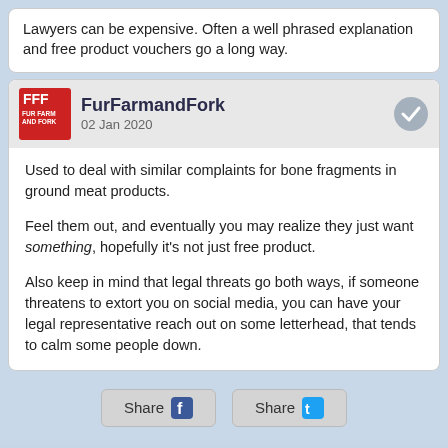Lawyers can be expensive. Often a well phrased explanation and free product vouchers go a long way.
FurFarmandFork 02 Jan 2020
Used to deal with similar complaints for bone fragments in ground meat products.

Feel them out, and eventually you may realize they just want something, hopefully it's not just free product.

Also keep in mind that legal threats go both ways, if someone threatens to extort you on social media, you can have your legal representative reach out on some letterhead, that tends to calm some people down.
Share  Share